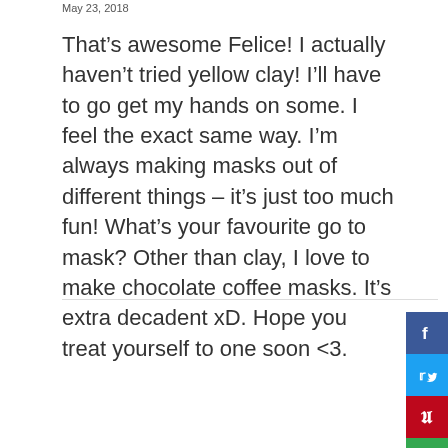May 23, 2018
That’s awesome Felice! I actually haven’t tried yellow clay! I’ll have to go get my hands on some. I feel the exact same way. I’m always making masks out of different things – it’s just too much fun! What’s your favourite go to mask? Other than clay, I love to make chocolate coffee masks. It’s extra decadent xD. Hope you treat yourself to one soon <3.